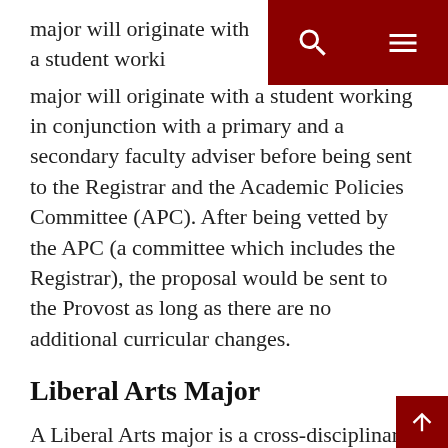major will originate with a student working in conjunction with a primary and a secondary faculty adviser before being sent to the Registrar and the Academic Policies Committee (APC). After being vetted by the APC (a committee which includes the Registrar), the proposal would be sent to the Provost as long as there are no additional curricular changes.
Liberal Arts Major
A Liberal Arts major is a cross-disciplinary pattern of 45 hours with a minimum of 15 hours from each of three cognates related to the student's objectives. At least 39 hours must be at the 300-400 level with a minimum of 12 in each of the